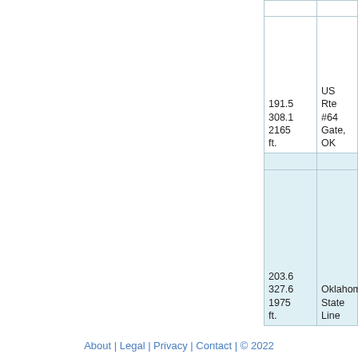| Miles/KM/Elev | Location |
| --- | --- |
|  |  |
| 191.5
308.1
2165 ft. | US Rte #64
Gate, OK |
|  |  |
| 203.6
327.6
1975 ft. | Oklahoma/?
State Line |
About | Legal | Privacy | Contact | © 2022